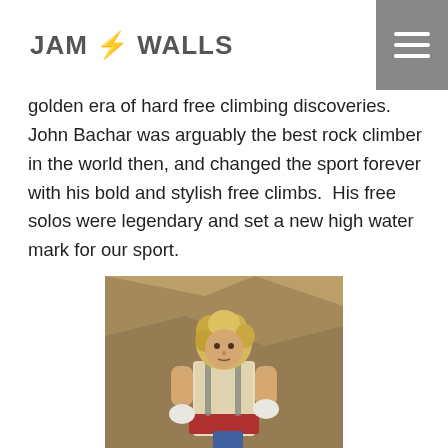JAM WALLS
golden era of hard free climbing discoveries. John Bachar was arguably the best rock climber in the world then, and changed the sport forever with his bold and stylish free climbs.  His free solos were legendary and set a new high water mark for our sport.
[Figure (photo): A young blond rock climber (John Bachar) standing against a rocky cliff face, wearing a white t-shirt and red belt/shorts, looking at the camera while holding or adjusting his gear.]